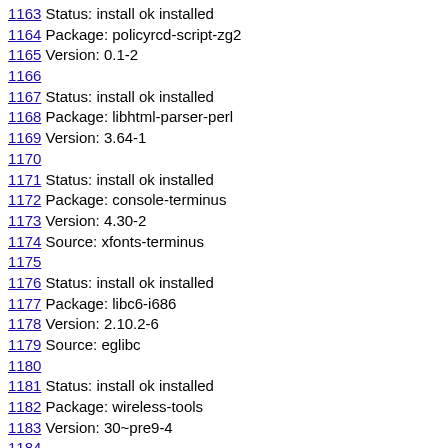1163 Status: install ok installed
1164 Package: policyrcd-script-zg2
1165 Version: 0.1-2
1166
1167 Status: install ok installed
1168 Package: libhtml-parser-perl
1169 Version: 3.64-1
1170
1171 Status: install ok installed
1172 Package: console-terminus
1173 Version: 4.30-2
1174 Source: xfonts-terminus
1175
1176 Status: install ok installed
1177 Package: libc6-i686
1178 Version: 2.10.2-6
1179 Source: eglibc
1180
1181 Status: install ok installed
1182 Package: wireless-tools
1183 Version: 30~pre9-4
1184
1185 Status: install ok installed
1186 Package: lilo
1187 Version: 1:22.8-8.1